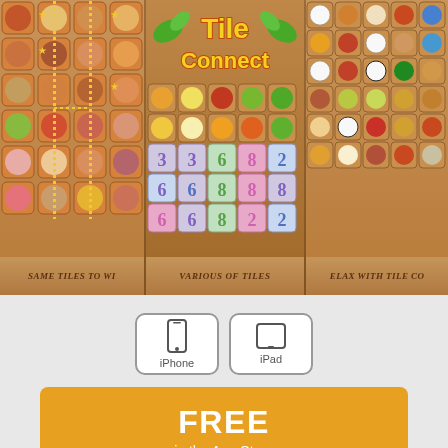[Figure (screenshot): Three game screenshots of Tile Connect app side by side: left shows sweets/candy tile grid with dotted line connecting matching tiles, center shows the Tile Connect logo with food and number tiles, right shows sports ball tile grid]
[Figure (screenshot): Two device compatibility buttons: iPhone and iPad, shown as rounded rectangle buttons with device icons]
[Figure (infographic): Orange FREE button with 'in the App Store' subtitle and social sharing icons (Twitter, Facebook, Pinterest, Google+, Reddit, Tumblr) below]
FREE
in the App Store